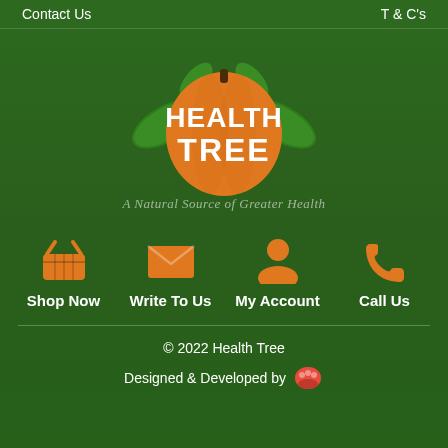Contact Us    T & C's
[Figure (logo): Health Tree logo with orange pumpkin/fruit shape and green leaves, text HEALTH TREE in white bold letters, tagline A Natural Source of Greater Health in italic white/transparent script]
Shop Now
Write To Us
My Account
Call Us
© 2022 Health Tree
Designed & Developed by [logo]